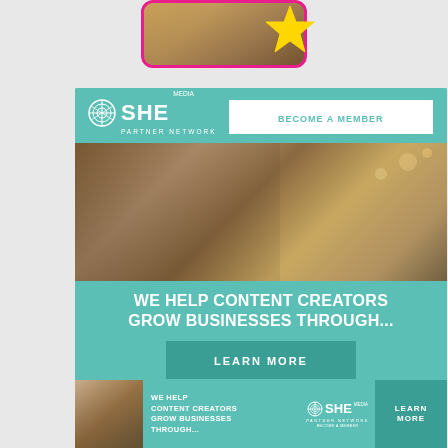[Figure (screenshot): Top portion of a mobile phone screenshot with pink border and yellow star emoji, showing a person with gold/glitter background]
[Figure (infographic): SHE Media Partner Network advertisement banner with teal background, logo, 'BECOME A MEMBER' button, photo of smiling woman with glasses using laptop, tagline 'WE HELP CONTENT CREATORS GROW BUSINESSES THROUGH...' and 'LEARN MORE' button]
GREATEST HITS
[Figure (infographic): Bottom SHE Media Partner Network advertisement banner with teal background, photo of woman, text 'WE HELP CONTENT CREATORS GROW BUSINESSES THROUGH...', SHE Media logo, BECOME A MEMBER text, and LEARN MORE button]